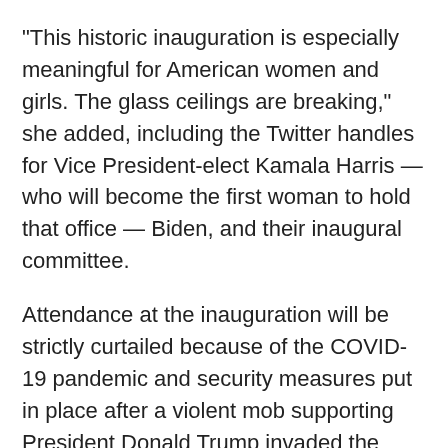"This historic inauguration is especially meaningful for American women and girls. The glass ceilings are breaking," she added, including the Twitter handles for Vice President-elect Kamala Harris — who will become the first woman to hold that office — Biden, and their inaugural committee.
Attendance at the inauguration will be strictly curtailed because of the COVID-19 pandemic and security measures put in place after a violent mob supporting President Donald Trump invaded the U.S. Capitol on Jan. 6 as Congress was certifying Biden's victory.
Fuller helped Vanderbilt win the Southeastern Conference women's soccer tournament as the goalkeeper. She helped out the football team while it